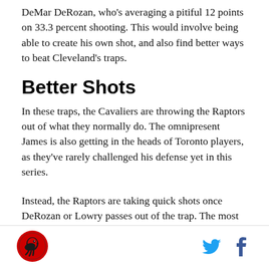DeMar DeRozan, who’s averaging a pitiful 12 points on 33.3 percent shooting. This would involve being able to create his own shot, and also find better ways to beat Cleveland’s traps.
Better Shots
In these traps, the Cavaliers are throwing the Raptors out of what they normally do. The omnipresent James is also getting in the heads of Toronto players, as they’ve rarely challenged his defense yet in this series.
Instead, the Raptors are taking quick shots once DeRozan or Lowry passes out of the trap. The most notable here is Serge Ibaka. He’s been a great release valve, but has taken a lot of long twos early in the shot
[Figure (logo): Round red logo with black raptor claw/bird graphic - Raptors logo]
[Figure (other): Twitter bird icon in light blue and Facebook 'f' icon in dark blue]